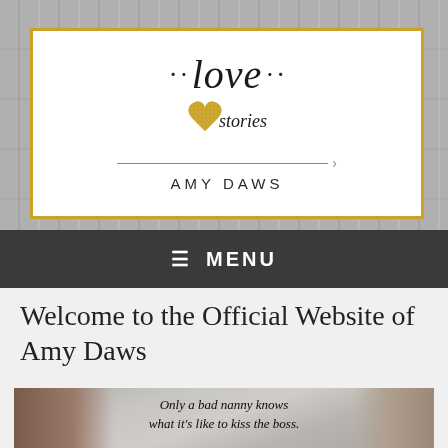[Figure (logo): Love Stories Amy Daws logo — decorative script text 'love' with dots on either side, a gold glitter heart, cursive 'stories' text, horizontal divider line with arrow, and 'AMY DAWS' in spaced sans-serif caps. All contained in a white rectangle with gold border, set against a grey wood-plank background.]
≡  MENU
Welcome to the Official Website of Amy Daws
[Figure (photo): Promotional book cover image showing a dark-haired woman on the left and a man on the right, with italic script text in the center reading: 'Only a bad nanny knows what it's like to kiss the boss.']